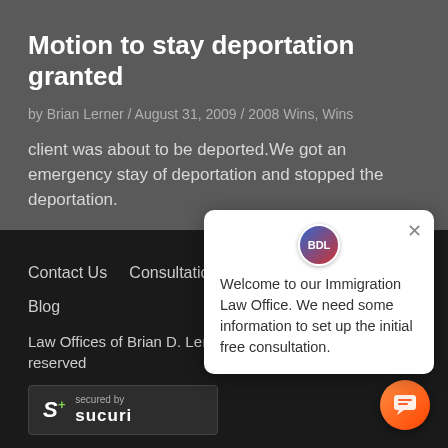Motion to stay deportation granted
by Brian Lerner / August 31, 2009 / 2008 Wins, Wins
client was about to be deported.We got an emergency stay of deportation and stopped the deportation.
[Figure (screenshot): Chat popup widget with immigration law office welcome message and BDL logo]
Contact Us    Consultation
Blog
Law Offices of Brian D. Lerner, APC (c) 2022, All Rights reserved
[Figure (logo): Sucuri security badge with S+ logo and 'secured by sucuri' text]